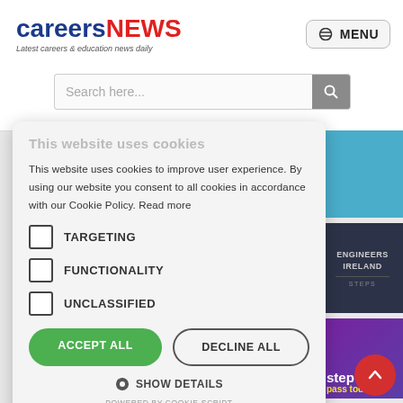careersNEWS — Latest careers & education news daily
Search here...
[Figure (screenshot): Cookie consent modal overlay on careersNEWS website with targeting, functionality, unclassified checkboxes and Accept All / Decline All buttons]
This website uses cookies to improve user experience. By using our website you consent to all cookies in accordance with our Cookie Policy. Read more
TARGETING
FUNCTIONALITY
UNCLASSIFIED
ACCEPT ALL
DECLINE ALL
SHOW DETAILS
POWERED BY COOKIE-SCRIPT